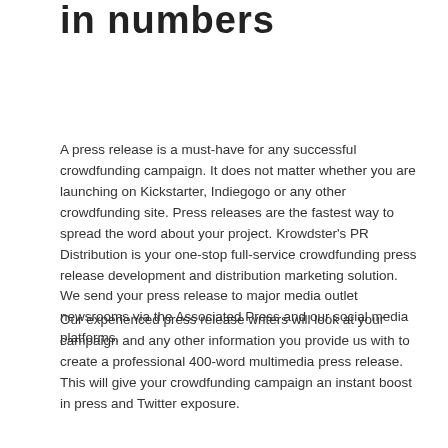in numbers
A press release is a must-have for any successful crowdfunding campaign. It does not matter whether you are launching on Kickstarter, Indiegogo or any other crowdfunding site. Press releases are the fastest way to spread the word about your project. Krowdster's PR Distribution is your one-stop full-service crowdfunding press release development and distribution marketing solution. We send your press release to major media outlet newsrooms via the Associated Press and our social media platforms.
Our experienced press release writers will look at your campaign and any other information you provide us with to create a professional 400-word multimedia press release. This will give your crowdfunding campaign an instant boost in press and Twitter exposure.